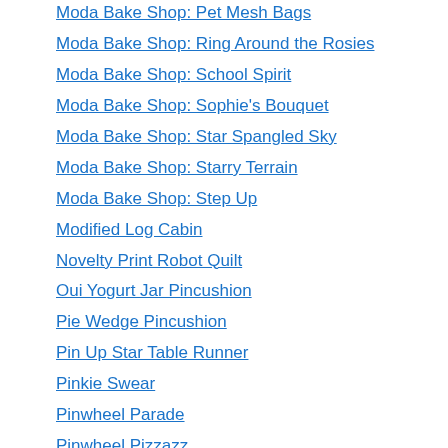Moda Bake Shop: Pet Mesh Bags
Moda Bake Shop: Ring Around the Rosies
Moda Bake Shop: School Spirit
Moda Bake Shop: Sophie's Bouquet
Moda Bake Shop: Star Spangled Sky
Moda Bake Shop: Starry Terrain
Moda Bake Shop: Step Up
Modified Log Cabin
Novelty Print Robot Quilt
Oui Yogurt Jar Pincushion
Pie Wedge Pincushion
Pin Up Star Table Runner
Pinkie Swear
Pinwheel Parade
Pinwheel Pizzazz
Plus Fun
Puff Quilt
Quick and Easy Rail Fence Jelly Roll Quilt:
Quilt Strip Calculator